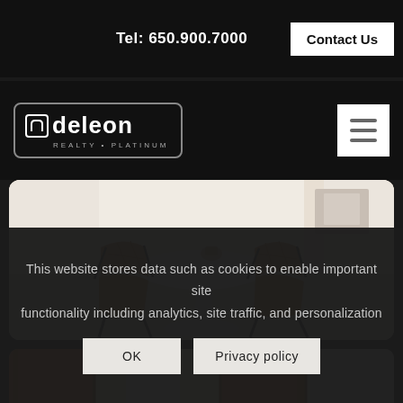Tel: 650.900.7000  Contact Us
[Figure (logo): Odeleon Realty Platinum logo with square icon and rounded rectangle border, white text on black background]
[Figure (photo): Interior dining area with white round tulip table and two brown quilted leather chairs on light beige floor]
[Figure (photo): Wooden cabinet doors in warm orange-brown tones, partial view]
This website stores data such as cookies to enable important site functionality including analytics, site traffic, and personalization
OK
Privacy policy